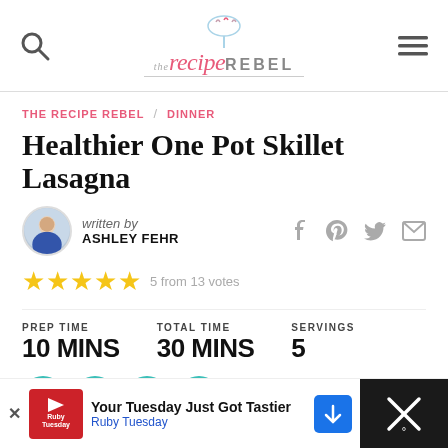The Recipe Rebel
THE RECIPE REBEL / DINNER
Healthier One Pot Skillet Lasagna
written by ASHLEY FEHR
5 from 13 votes
PREP TIME 10 MINS | TOTAL TIME 30 MINS | SERVINGS 5
JUMP TO RECIPE
Your Tuesday Just Got Tastier Ruby Tuesday